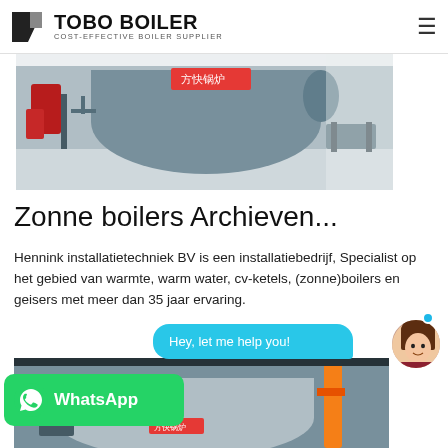TOBO BOILER — COST-EFFECTIVE BOILER SUPPLIER
[Figure (photo): Industrial boiler equipment in a factory setting — horizontal cylindrical boiler with control panels and pipes]
Zonne boilers Archieven...
Hennink installatietechniek BV is een installatiebedrijf, Specialist op het gebied van warmte, warm water, cv-ketels, (zonne)boilers en geisers met meer dan 35 jaar ervaring.
[Figure (screenshot): Chat widget with 'Hey, let me help you!' bubble, female avatar, WhatsApp button overlay, and industrial boiler photo in background]